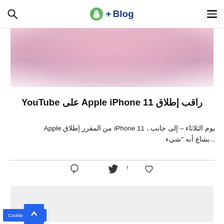Blog+ [logo]
[Figure (photo): Blurred close-up photo of a person, pinkish tones, partially visible face]
راقب إطلاق Apple iPhone 11 على YouTube
من المقرر إطلاق Apple iPhone 11 ، إلى جانب – يوم الثلاثاء ... يشاع أنه "شيء
[Figure (other): Social sharing icons: heart/like, Facebook, Twitter, Google+, Pinterest]
[Figure (other): Gray placeholder box for additional content]